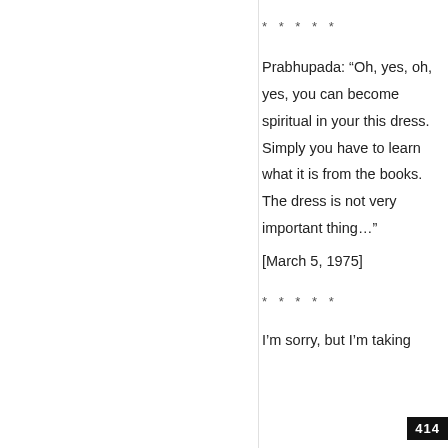* * * * *
Prabhupada: “Oh, yes, oh, yes, you can become spiritual in your this dress. Simply you have to learn what it is from the books. The dress is not very important thing…”
[March 5, 1975]
* * * * *
I’m sorry, but I’m taking
414